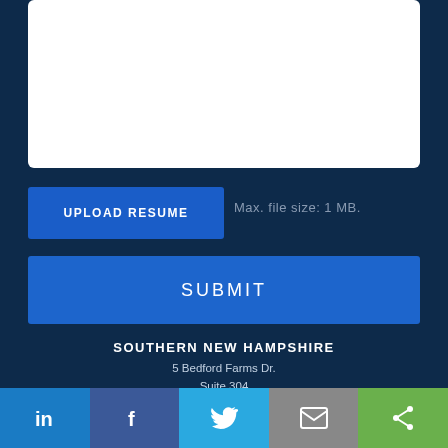[Figure (screenshot): White textarea input box (top of form)]
UPLOAD RESUME
Max. file size: 1 MB.
SUBMIT
SOUTHERN NEW HAMPSHIRE
5 Bedford Farms Dr.
Suite 304
Bedford, NH 03110
PHONE: 603-637-4499
FAX: 866-313-4798
SEACOAST NEW HAMPSHIRE
273 Corporate Dr.
[Figure (screenshot): Social sharing bar with LinkedIn, Facebook, Twitter, Email, and Share icons]